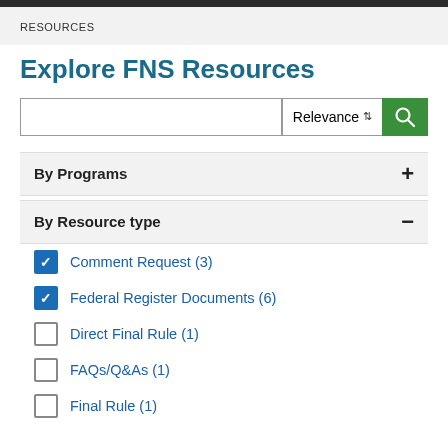RESOURCES
Explore FNS Resources
Search input with Relevance sort and search button
By Programs
By Resource type
Comment Request (3)
Federal Register Documents (6)
Direct Final Rule (1)
FAQs/Q&As (1)
Final Rule (1)